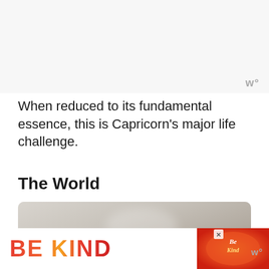[Figure (other): Gray blank/advertisement top area background]
w°
When reduced to its fundamental essence, this is Capricorn's major life challenge.
The World
[Figure (photo): Partial photo of a rounded-corner card or crystal object with a soft glare, beige/gray tones]
[Figure (other): Advertisement banner: BE KIND text in red-orange gradient with decorative illustration and close button]
w°